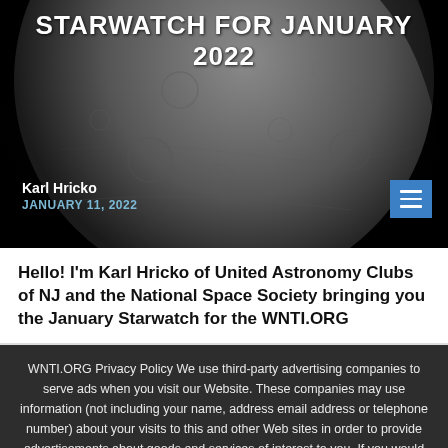[Figure (photo): Moon surface close-up photograph used as hero background image]
STARWATCH FOR JANUARY 2022
Karl Hricko
JANUARY 11, 2022
Hello! I'm Karl Hricko of United Astronomy Clubs of NJ and the National Space Society bringing you the January Starwatch for the WNTI.ORG
WNTI.ORG Privacy Policy We use third-party advertising companies to serve ads when you visit our Website. These companies may use information (not including your name, address email address or telephone number) about your visits to this and other Web sites in order to provide advertisements about goods and services of interest to you. If you would like more information about this practice and to know your choices about not having this information used by these companies, click here. Accept